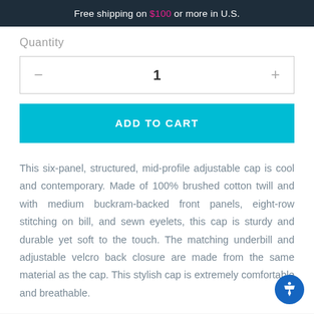Free shipping on $100 or more in U.S.
Quantity
— 1 +
ADD TO CART
This six-panel, structured, mid-profile adjustable cap is cool and contemporary. Made of 100% brushed cotton twill and with medium buckram-backed front panels, eight-row stitching on bill, and sewn eyelets, this cap is sturdy and durable yet soft to the touch. The matching underbill and adjustable velcro back closure are made from the same material as the cap. This stylish cap is extremely comfortable and breathable.